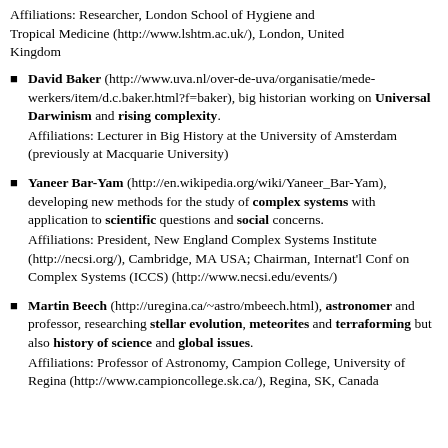Affiliations: Researcher, London School of Hygiene and Tropical Medicine (http://www.lshtm.ac.uk/), London, United Kingdom
David Baker (http://www.uva.nl/over-de-uva/organisatie/medewerkers/item/d.c.baker.html?f=baker), big historian working on Universal Darwinism and rising complexity. Affiliations: Lecturer in Big History at the University of Amsterdam (previously at Macquarie University)
Yaneer Bar-Yam (http://en.wikipedia.org/wiki/Yaneer_Bar-Yam), developing new methods for the study of complex systems with application to scientific questions and social concerns. Affiliations: President, New England Complex Systems Institute (http://necsi.org/), Cambridge, MA USA; Chairman, Internat'l Conf on Complex Systems (ICCS) (http://www.necsi.edu/events/)
Martin Beech (http://uregina.ca/~astro/mbeech.html), astronomer and professor, researching stellar evolution, meteorites and terraforming but also history of science and global issues. Affiliations: Professor of Astronomy, Campion College, University of Regina (http://www.campioncollege.sk.ca/), Regina, SK, Canada